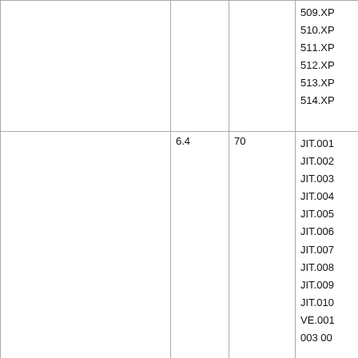|  |  |  |  |
| --- | --- | --- | --- |
|  |  |  | 509.XP
510.XP
511.XP
512.XP
513.XP
514.XP |
|  | 6.4 | 70 | JIT.001
JIT.002
JIT.003
JIT.004
JIT.005
JIT.006
JIT.007
JIT.008
JIT.009
JIT.010
VE.001
003 00 |